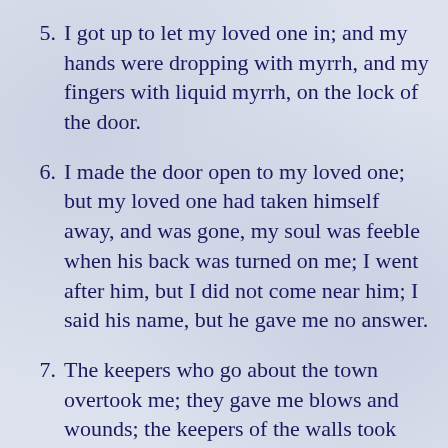5. I got up to let my loved one in; and my hands were dropping with myrrh, and my fingers with liquid myrrh, on the lock of the door.
6. I made the door open to my loved one; but my loved one had taken himself away, and was gone, my soul was feeble when his back was turned on me; I went after him, but I did not come near him; I said his name, but he gave me no answer.
7. The keepers who go about the town overtook me; they gave me blows and wounds; the keepers of the walls took away my veil from me.